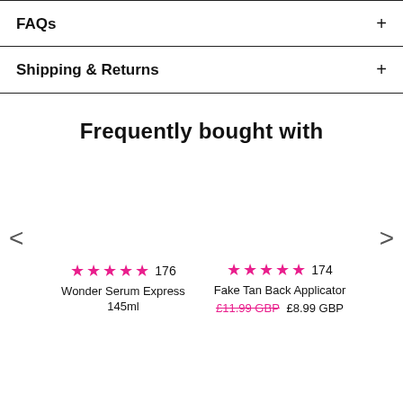FAQs +
Shipping & Returns +
Frequently bought with
★★★★★ 176 Wonder Serum Express 145ml
★★★★★ 174 Fake Tan Back Applicator £11.99 GBP £8.99 GBP